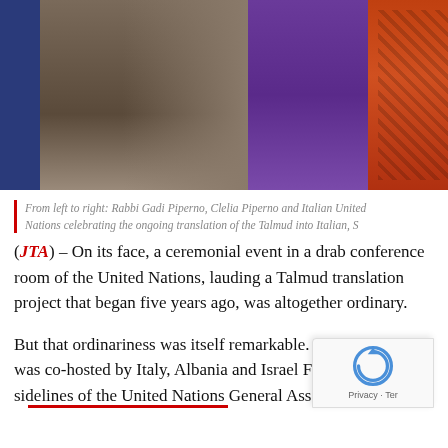[Figure (photo): Photo showing people from left to right: a figure in a gray/brown coat on the left, a person in a purple outfit in the center-right, and a person in an orange leopard-print outfit on the far right.]
From left to right: Rabbi Gadi Piperno, Clelia Piperno and Italian United Nations celebrating the ongoing translation of the Talmud into Italian, S
(JTA) – On its face, a ceremonial event in a drab conference room of the United Nations, lauding a Talmud translation project that began five years ago, was altogether ordinary.
But that ordinariness was itself remarkable. The e was co-hosted by Italy, Albania and Israel Friday sidelines of the United Nations General Assembly,